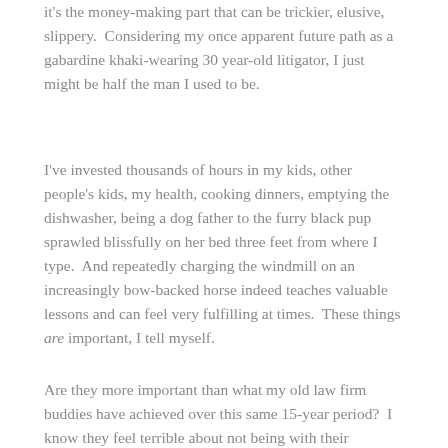it's the money-making part that can be trickier, elusive, slippery.  Considering my once apparent future path as a gabardine khaki-wearing 30 year-old litigator, I just might be half the man I used to be.
I've invested thousands of hours in my kids, other people's kids, my health, cooking dinners, emptying the dishwasher, being a dog father to the furry black pup sprawled blissfully on her bed three feet from where I type.  And repeatedly charging the windmill on an increasingly bow-backed horse indeed teaches valuable lessons and can feel very fulfilling at times.  These things are important, I tell myself.
Are they more important than what my old law firm buddies have achieved over this same 15-year period?  I know they feel terrible about not being with their